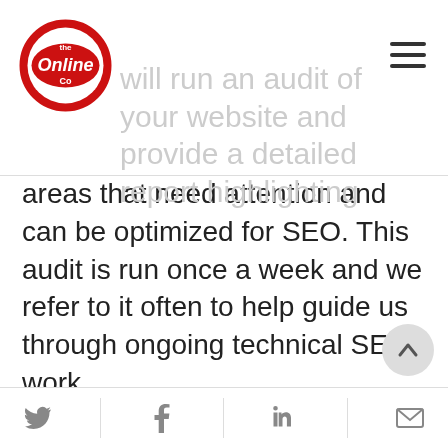[Figure (logo): The Online Co red circular logo with 'Online' text in white on red badge]
will run an audit of your website and provide a detailed report highlighting areas that need attention and can be optimized for SEO. This audit is run once a week and we refer to it often to help guide us through ongoing technical SEO work.
Once we have access to your systems, we implement a 57+ step setup process that includes:
Making sure Google and Bing know your site exists and which pages to